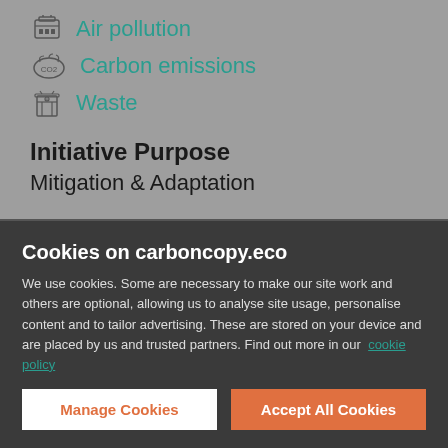Air pollution
Carbon emissions
Waste
Initiative Purpose
Mitigation & Adaptation
Initiative Reach
Cookies on carboncopy.eco
We use cookies. Some are necessary to make our site work and others are optional, allowing us to analyse site usage, personalise content and to tailor advertising. These are stored on your device and are placed by us and trusted partners. Find out more in our  cookie policy
Manage Cookies
Accept All Cookies